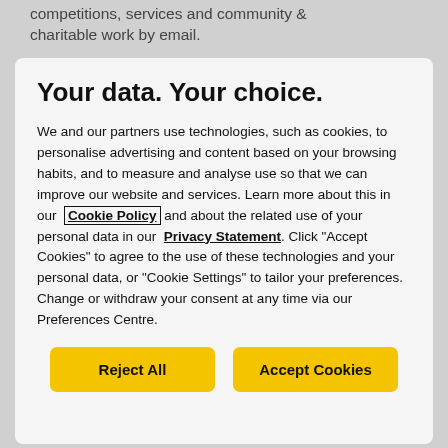competitions, services and community & charitable work by email.
Your data. Your choice.
We and our partners use technologies, such as cookies, to personalise advertising and content based on your browsing habits, and to measure and analyse use so that we can improve our website and services. Learn more about this in our Cookie Policy and about the related use of your personal data in our Privacy Statement. Click "Accept Cookies" to agree to the use of these technologies and your personal data, or "Cookie Settings" to tailor your preferences. Change or withdraw your consent at any time via our Preferences Centre.
Reject All
Accept Cookies